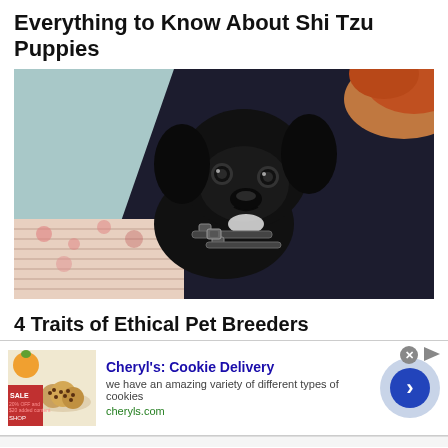Everything to Know About Shi Tzu Puppies
[Figure (photo): A black puppy with a harness being held by a person with red hair, against a light blue background]
4 Traits of Ethical Pet Breeders
[Figure (infographic): Advertisement: Cheryl's: Cookie Delivery - we have an amazing variety of different types of cookies - cheryls.com - with cookie image on left and navigation arrow circle on right]